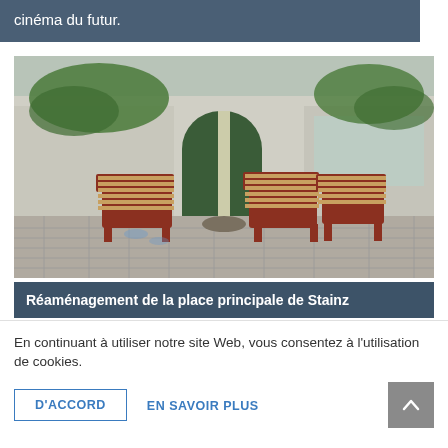cinéma du futur.
[Figure (photo): Outdoor public square in Stainz with wooden-slatted benches and chairs with red metal frames arranged around a tree on stone paving, with buildings and greenery in the background.]
Réaménagement de la place principale de Stainz
En continuant à utiliser notre site Web, vous consentez à l'utilisation de cookies.
D'ACCORD
EN SAVOIR PLUS